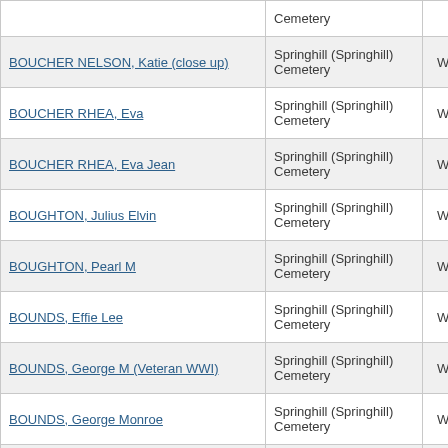| Name | Cemetery | Parish |
| --- | --- | --- |
| [partial top row] | Cemetery |  |
| BOUCHER NELSON, Katie (close up) | Springhill (Springhill) Cemetery | Webster |
| BOUCHER RHEA, Eva | Springhill (Springhill) Cemetery | Webster |
| BOUCHER RHEA, Eva Jean | Springhill (Springhill) Cemetery | Webster |
| BOUGHTON, Julius Elvin | Springhill (Springhill) Cemetery | Webster |
| BOUGHTON, Pearl M | Springhill (Springhill) Cemetery | Webster |
| BOUNDS, Effie Lee | Springhill (Springhill) Cemetery | Webster |
| BOUNDS, George M (Veteran WWI) | Springhill (Springhill) Cemetery | Webster |
| BOUNDS, George Monroe | Springhill (Springhill) Cemetery | Webster |
| BOUNDS, [partial] | Springhill (Springhill) | Webster |